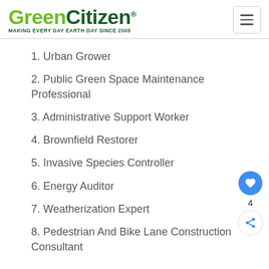GreenCitizen® MAKING EVERY DAY EARTH DAY SINCE 2005
1. Urban Grower
2. Public Green Space Maintenance Professional
3. Administrative Support Worker
4. Brownfield Restorer
5. Invasive Species Controller
6. Energy Auditor
7. Weatherization Expert
8. Pedestrian And Bike Lane Construction Consultant